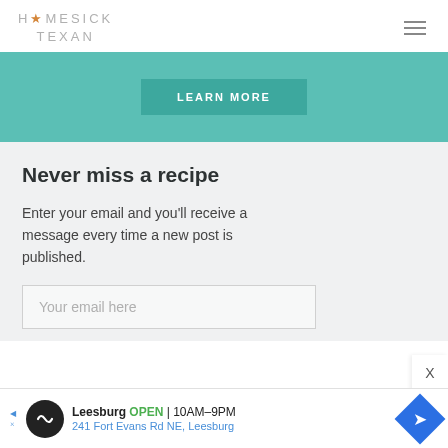HOMESICK TEXAN
[Figure (screenshot): Teal/turquoise banner with a 'LEARN MORE' button]
Never miss a recipe
Enter your email and you'll receive a message every time a new post is published.
Your email here
[Figure (infographic): Advertisement bar: Leesburg OPEN 10AM-9PM, 241 Fort Evans Rd NE, Leesburg with navigation arrow icon]